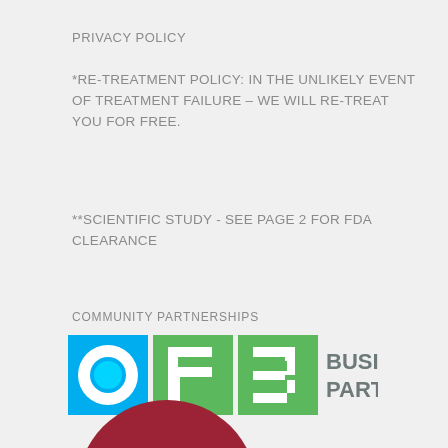PRIVACY POLICY
*RE-TREATMENT POLICY: IN THE UNLIKELY EVENT OF TREATMENT FAILURE – WE WILL RE-TREAT YOU FOR FREE.
**SCIENTIFIC STUDY - SEE PAGE 2 FOR FDA CLEARANCE
COMMUNITY PARTNERSHIPS
[Figure (logo): OPB Business Partners logo with cyan circle O, green square P, green rectangle B, and grey text BUSINESS PARTNERS]
[Figure (logo): Partial red circular badge with white text WE'RE visible at bottom]